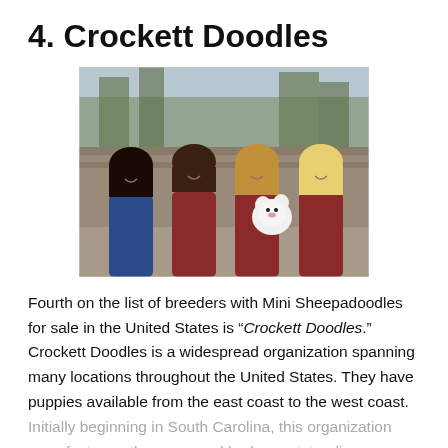4. Crockett Doodles
[Figure (photo): Four young women smiling together outdoors, one holding a small white fluffy puppy. Trees and stone steps visible in background.]
Fourth on the list of breeders with Mini Sheepadoodles for sale in the United States is "Crockett Doodles." Crockett Doodles is a widespread organization spanning many locations throughout the United States. They have puppies available from the east coast to the west coast. Initially beginning in South Carolina, this organization grew fast over the years and had an outstanding